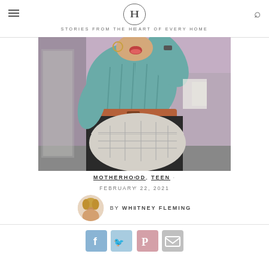H — STORIES FROM THE HEART OF EVERY HOME
[Figure (photo): Person in teal sweater with brown belt and black pants, kicking foot toward camera showing sole of shoe, laughing with tongue out, arm raised, indoor room background]
MOTHERHOOD, TEEN ·
FEBRUARY 22, 2021
BY WHITNEY FLEMING
[Figure (infographic): Social share buttons: Facebook (blue), Twitter (light blue), Pinterest (pink-red), Email (gray)]